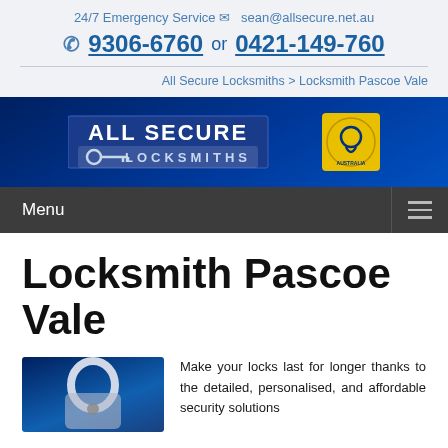24/7 Emergency Service  sean@allsecure.net.au
9306-6760 or 0421-149-760
All Secure Locksmiths > Locksmith Pascoe Vale
[Figure (logo): All Secure Locksmiths logo on dark blue background with key icon and circular badge]
Menu
Locksmith Pascoe Vale
[Figure (photo): Close-up photo of a silver padlock on blue background]
Make your locks last for longer thanks to the detailed, personalised, and affordable security solutions